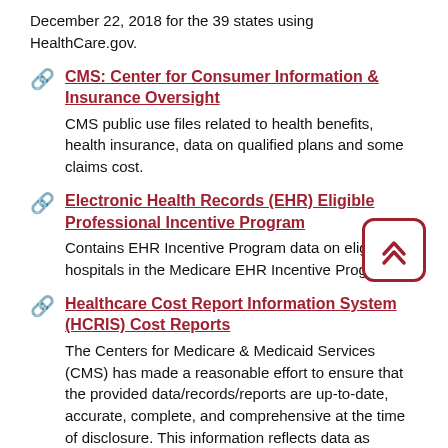December 22, 2018 for the 39 states using HealthCare.gov.
CMS: Center for Consumer Information & Insurance Oversight
CMS public use files related to health benefits, health insurance, data on qualified plans and some claims cost.
Electronic Health Records (EHR) Eligible Professional Incentive Program
Contains EHR Incentive Program data on eligible hospitals in the Medicare EHR Incentive Program.
Healthcare Cost Report Information System (HCRIS) Cost Reports
The Centers for Medicare & Medicaid Services (CMS) has made a reasonable effort to ensure that the provided data/records/reports are up-to-date, accurate, complete, and comprehensive at the time of disclosure. This information reflects data as reported to the Healthcare Cost Report Information System (HCRIS). These reports